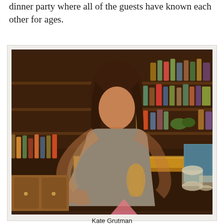dinner party where all of the guests have known each other for ages.
[Figure (photo): A female bartender shaking a cocktail behind a bar, with motion blur on her arms. She is pouring into a pink cocktail glass. Behind her are shelves lined with numerous liquor bottles. Warm amber lighting illuminates the bar scene.]
Kate Grutman